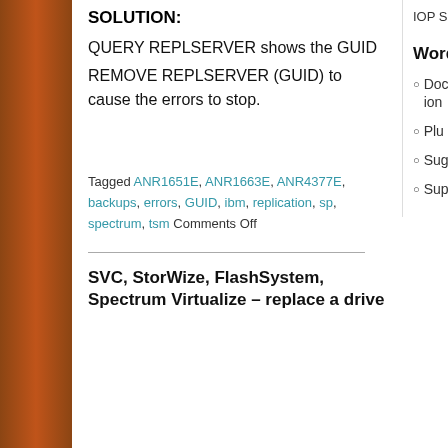SOLUTION:
QUERY REPLSERVER shows the GUID
REMOVE REPLSERVER (GUID) to cause the errors to stop.
Tagged ANR1651E, ANR1663E, ANR4377E, backups, errors, GUID, ibm, replication, sp, spectrum, tsm Comments Off
SVC, StorWize, FlashSystem, Spectrum Virtualize – replace a drive
IOPS calculator
Word Press
Documentation
Plugins
Suggest Ideas
Support For